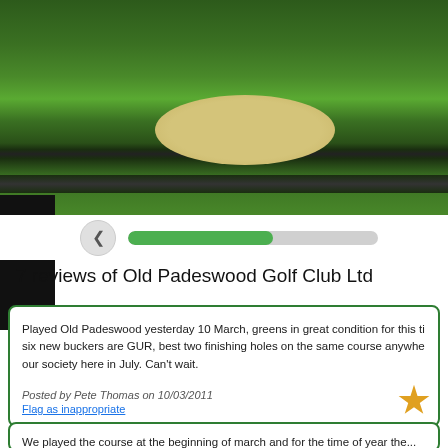[Figure (photo): Aerial/ground-level photo of a golf course fairway with a sand bunker visible, golfers in the background, green grass and a water hazard strip]
7 reviews of Old Padeswood Golf Club Ltd
Played Old Padeswood yesterday 10 March, greens in great condition for this ti... six new buckers are GUR, best two finishing holes on the same course anywhe... our society here in July. Can't wait.
Posted by Pete Thomas on 10/03/2011
Flag as inappropriate
We played the course at the beginning of march and for the time of year the...